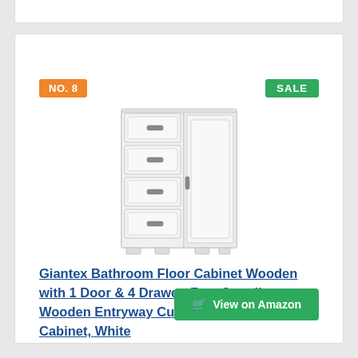NO. 8
SALE
[Figure (photo): White wooden bathroom floor cabinet with 4 drawers on the left side and 1 door with handle on the right side, free standing furniture on white background.]
Giantex Bathroom Floor Cabinet Wooden with 1 Door & 4 Drawer, Free Standing Wooden Entryway Cupboard Spacesaver Cabinet, White
View on Amazon